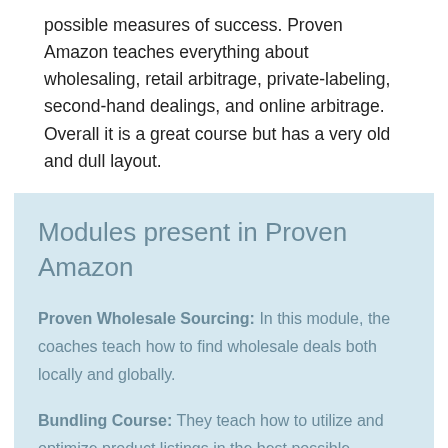possible measures of success. Proven Amazon teaches everything about wholesaling, retail arbitrage, private-labeling, second-hand dealings, and online arbitrage. Overall it is a great course but has a very old and dull layout.
Modules present in Proven Amazon
Proven Wholesale Sourcing: In this module, the coaches teach how to find wholesale deals both locally and globally.
Bundling Course: They teach how to utilize and optimize product listings in the best possible manner.
Buy local sell to the world: A guide to find